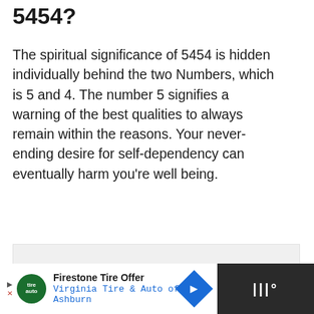5454?
The spiritual significance of 5454 is hidden individually behind the two Numbers, which is 5 and 4. The number 5 signifies a warning of the best qualities to always remain within the reasons. Your never-ending desire for self-dependency can eventually harm you're well being.
[Figure (other): Advertisement placeholder box (light gray empty rectangle)]
Firestone Tire Offer Virginia Tire & Auto of Ashburn [advertisement bar]